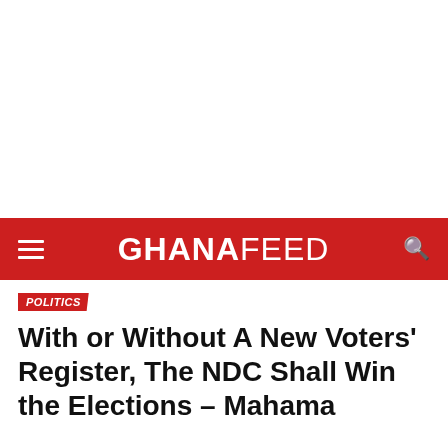GHANAFEED
POLITICS
With or Without A New Voters' Register, The NDC Shall Win the Elections – Mahama